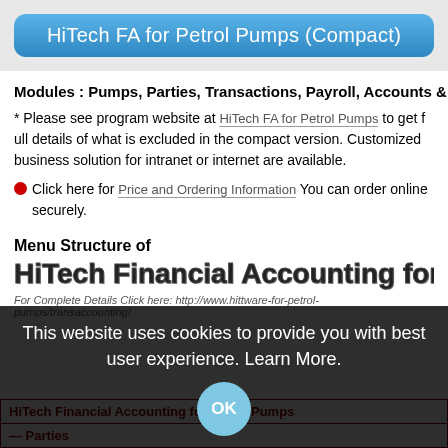HiTech FA for Petrol Pumps (Compact)
Modules : Pumps, Parties, Transactions, Payroll, Accounts & U
* Please see program website at HiTech FA for Petrol Pumps to get full details of what is excluded in the compact version. Customized business solution for intranet or internet are available.
Click here for Price and Ordering Information You can order online securely.
Menu Structure of
HiTech Financial Accounting for Petrol Pu
For Complete Details Click here: http://www.hittware-for-petrol-pumps/transaccounting/
This website uses cookies to provide you with best user experience. Learn More.
| HiTech Financial Accounting for Petrol Pumps |  |
| --- | --- |
| — Parties |  |